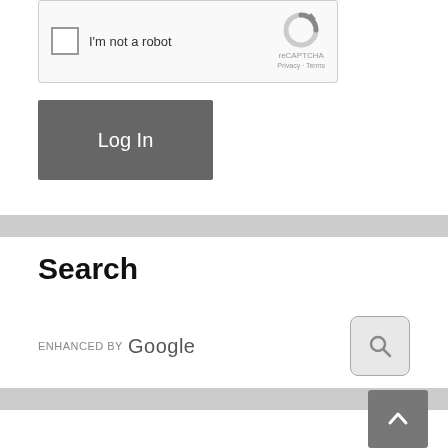[Figure (screenshot): reCAPTCHA widget with checkbox labeled 'I'm not a robot' and reCAPTCHA logo with Privacy and Terms links]
[Figure (screenshot): Gray 'Log In' button]
Search
[Figure (screenshot): Google enhanced search bar with 'ENHANCED BY Google' text and a search icon button on the right]
[Figure (screenshot): Scroll-to-top button with upward arrow chevron in gray]